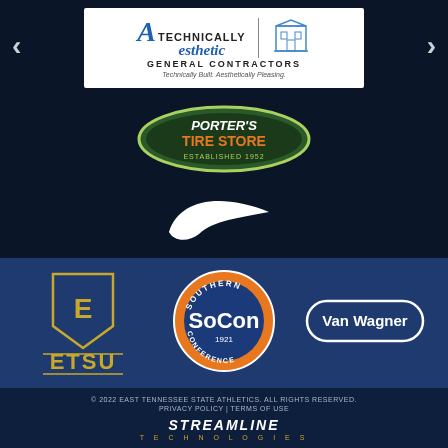[Figure (logo): Technically Aesthetic General Contractors logo - white background with stylized A, building illustration, text 'TECHNICALLY Aesthetic GENERAL CONTRACTORS Technically Built. Aesthetically Pleasing.']
[Figure (logo): Porter's Tire Store oval logo with green border, orange and white text on dark background, 'ESTABLISHED 1952']
[Figure (logo): Nike swoosh logo in white on dark navy background]
[Figure (logo): ETSU (East Tennessee State University) shield logo with gold E and ETSU text]
[Figure (logo): SoCon (Southern Conference) circular logo, orange and blue, '1921', 'SOUTHERN CONFERENCE']
[Figure (logo): Van Wagner logo in white rounded rectangle]
© 2022 EAST TENNESSEE STATE ATHLETICS. ALL RIGHTS RESERVED. PRIVACY POLICY | TERMS OF USE
[Figure (logo): Streamline Technologies logo in white italic bold text with gold 'TECHNOLOGIES' subtitle]